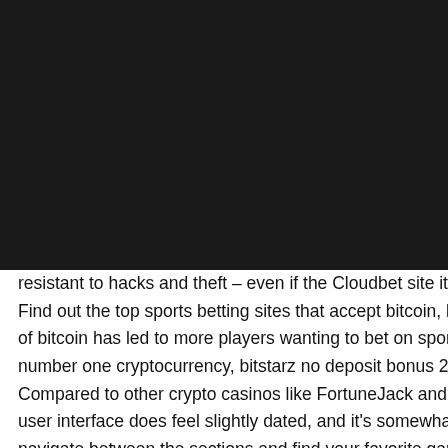[Figure (logo): LA Wrap & Tint School logo on dark navigation bar with cart icon and hamburger menu]
resistant to hacks and theft – even if the Cloudbet site itself is compromised. Find out the top sports betting sites that accept bitcoin, below. The explosion of bitcoin has led to more players wanting to bet on sports with the world's number one cryptocurrency, bitstarz no deposit bonus 20 zatočení zdarma. Compared to other crypto casinos like FortuneJack and BitStarz, Bitcasino's user interface does feel slightly dated, and it's somewhat more difficult to navigate between the sections and find your favorite games than other casinos, bitstarz no deposit bonus codes 2019. However, overall Bitcasino is a good crypto casino for those who want access to a decent amount of